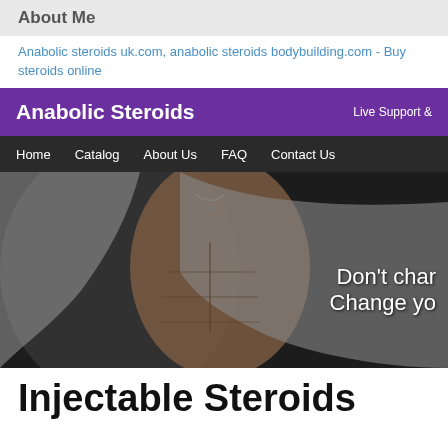About Me
Anabolic steroids uk.com, anabolic steroids bodybuilding.com - Buy steroids online
[Figure (screenshot): Screenshot of an anabolic steroids website featuring a purple header with the title 'Anabolic Steroids' and 'Live Support &', a dark navigation bar with links Home, Catalog, About Us, FAQ, Contact Us, a large hero image of a muscular man with text overlay 'Don't char... Change yo...', and a purple footer bar with links '-Injectable Steroids -Oral Steroi' and a scroll-up button '-Hu']
Injectable Steroids